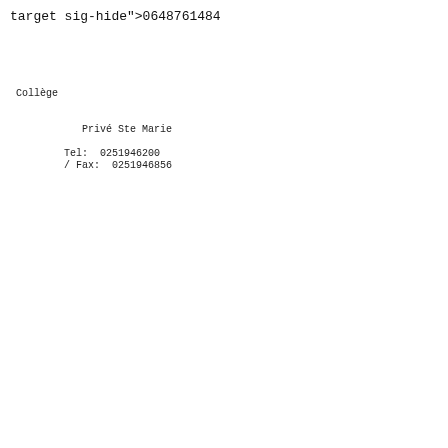target sig-hide">0648761484</span></p>
            <p style="font-
family: Helvetica, Arial, sans-serif;
            font-size: 10px; line-height: 12px; margin-
bottom: 10px;"> <span
            style="font-
weight: bold; color: rgb(33, 33, 33); display:
            inline;" class="txt signature_companyname-
target sig-hide">Collège


            Privé Ste Marie</span> <span class="company
sep break"
            style="display: inline;"><br>
        </span> <span style="color: rgb(33, 33, 33);
            inline;" class="txt office-
sep sep">Tel: </span> <span
            style="color: rgb(33, 33, 33); display: in
            class="txt signature_officephone-
target sig-hide">0251946200
        </span> <span style="color: rgb(33, 33, 33);
            inline;" class="txt fax-
sep sep">/ Fax: </span> <span
            style="color: rgb(33, 33, 33); display: in
            class="txt signature_fax-target sig-
hide">0251946856</span>
        <span class="address-
sep break" style="display: inline;"><br>
        </span> <span style="color: rgb(33, 33, 33);
            inline;" class="txt signature_address-